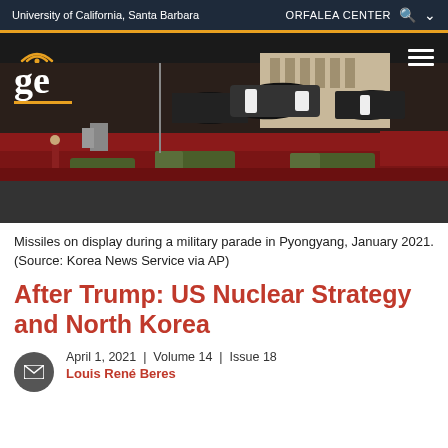University of California, Santa Barbara   ORFALEA CENTER
[Figure (photo): Missiles on display during a military parade in Pyongyang, January 2021. Large intercontinental ballistic missiles mounted on military trucks in a nighttime parade, with soldiers and buildings in the background. A 'ge' logo overlay appears in the top-left corner.]
Missiles on display during a military parade in Pyongyang, January 2021. (Source: Korea News Service via AP)
After Trump: US Nuclear Strategy and North Korea
April 1, 2021 | Volume 14 | Issue 18
Louis René Beres